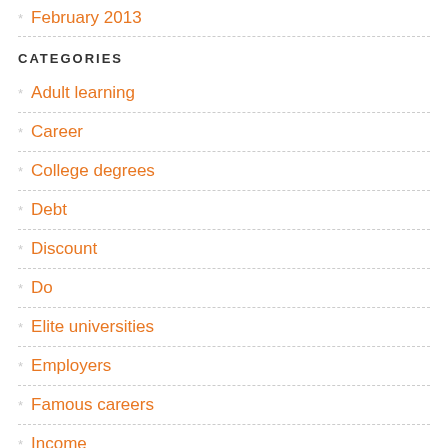February 2013
CATEGORIES
Adult learning
Career
College degrees
Debt
Discount
Do
Elite universities
Employers
Famous careers
Income